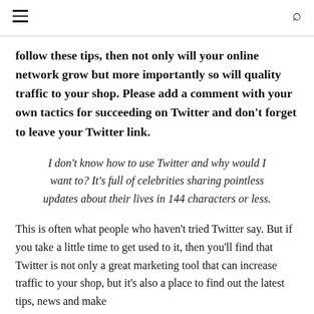follow these tips, then not only will your online network grow but more importantly so will quality traffic to your shop. Please add a comment with your own tactics for succeeding on Twitter and don't forget to leave your Twitter link.
I don't know how to use Twitter and why would I want to? It's full of celebrities sharing pointless updates about their lives in 144 characters or less.
This is often what people who haven't tried Twitter say. But if you take a little time to get used to it, then you'll find that Twitter is not only a great marketing tool that can increase traffic to your shop, but it's also a place to find out the latest tips, news and make